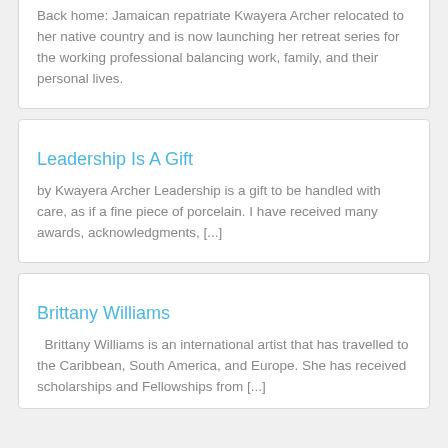Back home: Jamaican repatriate Kwayera Archer relocated to her native country and is now launching her retreat series for the working professional balancing work, family, and their personal lives.
Leadership Is A Gift
by Kwayera Archer Leadership is a gift to be handled with care, as if a fine piece of porcelain. I have received many awards, acknowledgments, [...]
Brittany Williams
Brittany Williams is an international artist that has travelled to the Caribbean, South America, and Europe. She has received scholarships and Fellowships from [...]